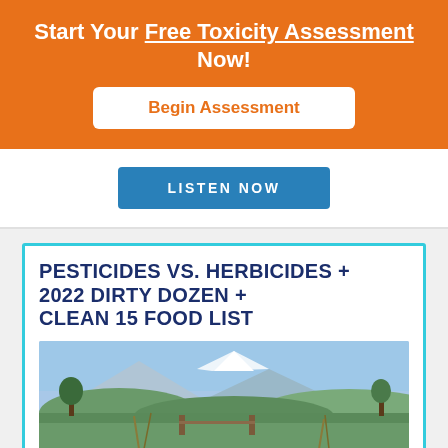Start Your Free Toxicity Assessment Now!
Begin Assessment
LISTEN NOW
PESTICIDES VS. HERBICIDES + 2022 DIRTY DOZEN + CLEAN 15 FOOD LIST
[Figure (photo): Rural farm scene with green fields, trees in background, and a snow-capped mountain with blue sky]